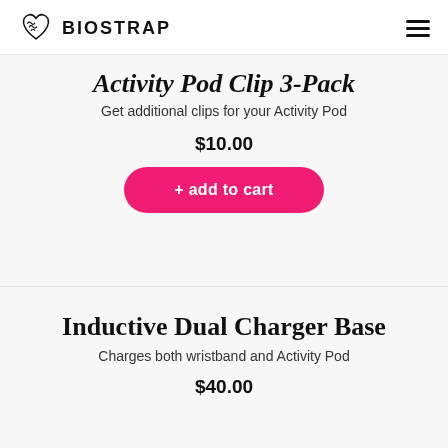BIOSTRAP
Activity Pod Clip 3-Pack
Get additional clips for your Activity Pod
$10.00
+ add to cart
Inductive Dual Charger Base
Charges both wristband and Activity Pod
$40.00